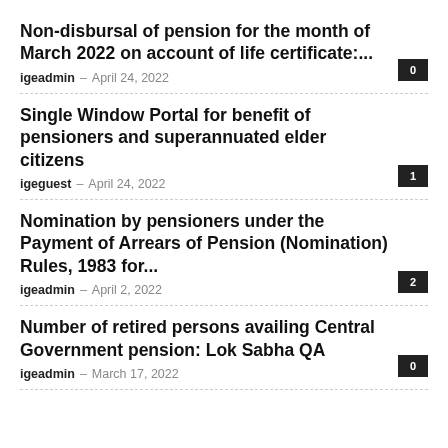Non-disbursal of pension for the month of March 2022 on account of life certificate:...
igeadmin – April 24, 2022
Single Window Portal for benefit of pensioners and superannuated elder citizens
igeguest – April 24, 2022
Nomination by pensioners under the Payment of Arrears of Pension (Nomination) Rules, 1983 for...
igeadmin – April 2, 2022
Number of retired persons availing Central Government pension: Lok Sabha QA
igeadmin – March 17, 2022